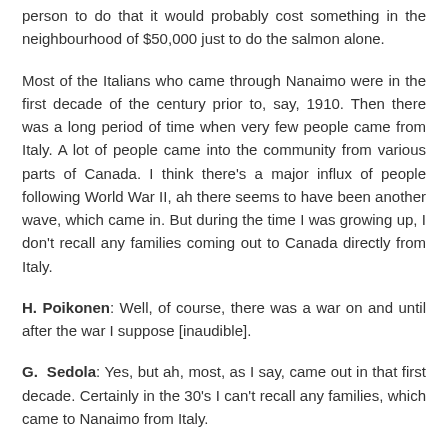person to do that it would probably cost something in the neighbourhood of $50,000 just to do the salmon alone.
Most of the Italians who came through Nanaimo were in the first decade of the century prior to, say, 1910. Then there was a long period of time when very few people came from Italy. A lot of people came into the community from various parts of Canada. I think there's a major influx of people following World War II, ah there seems to have been another wave, which came in. But during the time I was growing up, I don't recall any families coming out to Canada directly from Italy.
H. Poikonen: Well, of course, there was a war on and until after the war I suppose [inaudible].
G. Sedola: Yes, but ah, most, as I say, came out in that first decade. Certainly in the 30's I can't recall any families, which came to Nanaimo from Italy.